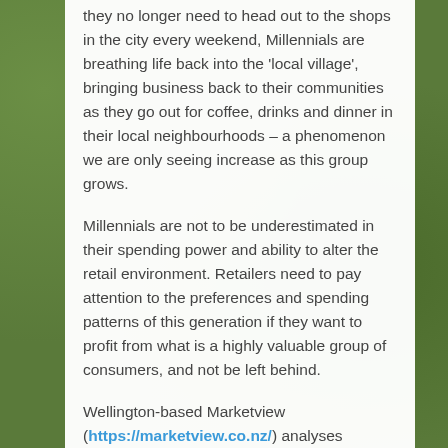they no longer need to head out to the shops in the city every weekend, Millennials are breathing life back into the 'local village', bringing business back to their communities as they go out for coffee, drinks and dinner in their local neighbourhoods – a phenomenon we are only seeing increase as this group grows.
Millennials are not to be underestimated in their spending power and ability to alter the retail environment. Retailers need to pay attention to the preferences and spending patterns of this generation if they want to profit from what is a highly valuable group of consumers, and not be left behind.
Wellington-based Marketview (https://marketview.co.nz/) analyses consumer spending patterns from reliable sources across all categories, enabling a deeper understanding of how consumers behave and helping clients across a range of industries to understand what is driving their sales growth or decline.